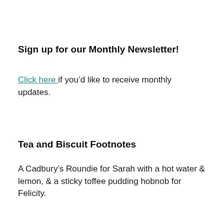Sign up for our Monthly Newsletter!
Click here if you’d like to receive monthly updates.
Tea and Biscuit Footnotes
A Cadbury’s Roundie for Sarah with a hot water & lemon, & a sticky toffee pudding hobnob for Felicity.